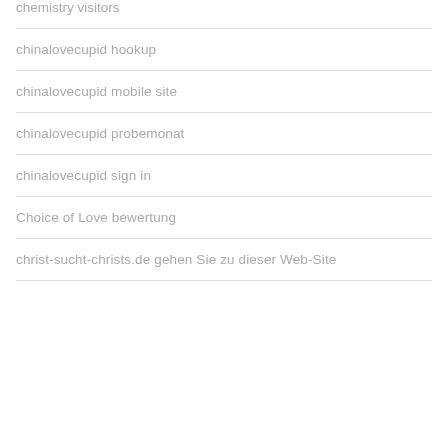chemistry visitors
chinalovecupid hookup
chinalovecupid mobile site
chinalovecupid probemonat
chinalovecupid sign in
Choice of Love bewertung
christ-sucht-christs.de gehen Sie zu dieser Web-Site